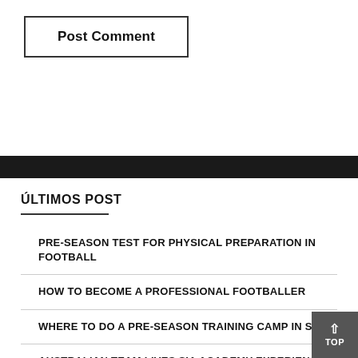Post Comment
ÚLTIMOS POST
PRE-SEASON TEST FOR PHYSICAL PREPARATION IN FOOTBALL
HOW TO BECOME A PROFESSIONAL FOOTBALLER
WHERE TO DO A PRE-SEASON TRAINING CAMP IN SPAIN
AUSTRALIAN TEAM LIVES SIA ACADEMY EXPERIENCE